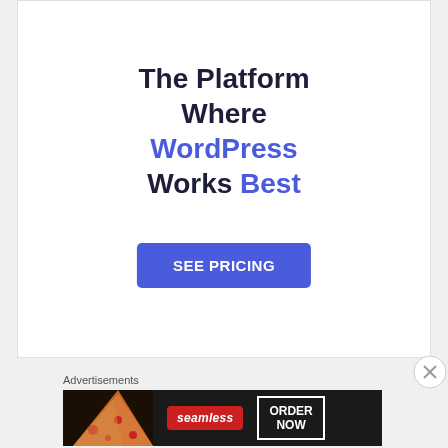[Figure (other): Web hosting advertisement: white background with bold dark navy text 'The Platform Where WordPress Works Best' where 'WordPress' and 'Best' are in blue. Below is a blue 'SEE PRICING' button.]
Advertisements
[Figure (other): Seamless food delivery advertisement on dark background with pizza image on left, red Seamless logo in center, and white-bordered 'ORDER NOW' button on right.]